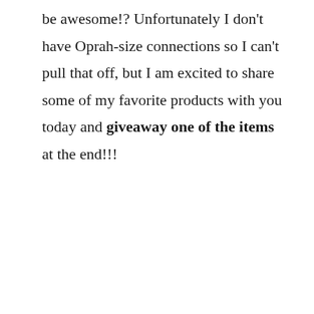be awesome!? Unfortunately I don't have Oprah-size connections so I can't pull that off, but I am excited to share some of my favorite products with you today and giveaway one of the items at the end!!!